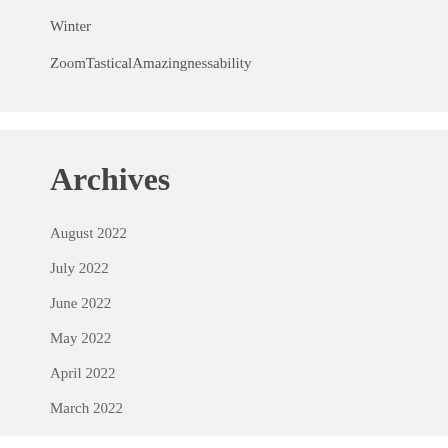Winter
ZoomTasticalAmazingnessability
Archives
August 2022
July 2022
June 2022
May 2022
April 2022
March 2022